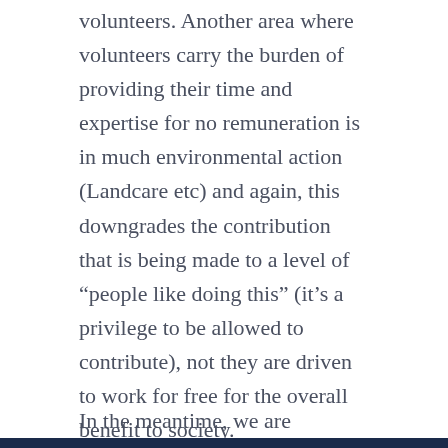volunteers. Another area where volunteers carry the burden of providing their time and expertise for no remuneration is in much environmental action (Landcare etc) and again, this downgrades the contribution that is being made to a level of “people like doing this” (it’s a privilege to be allowed to contribute), not they are driven to work for free for the overall benefit to society.
In the meantime, we are